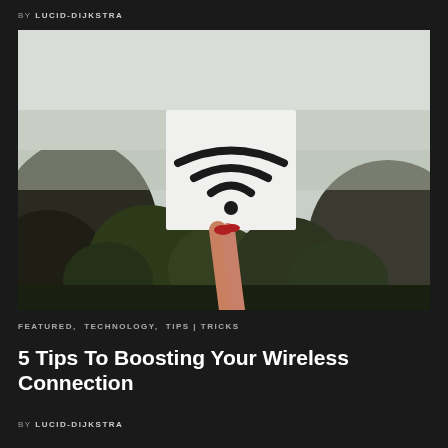BY LUCID-DIJKSTRA
[Figure (photo): A hand with red-painted nails holds up a white card printed with a WiFi symbol against an outdoor background of trees and sky.]
FEATURED, TECHNOLOGY, TIPS | TRICKS
5 Tips To Boosting Your Wireless Connection
BY LUCID-DIJKSTRA